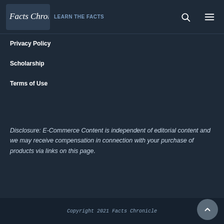Facts Chronicle — Learn the Facts
Privacy Policy
Scholarship
Terms of Use
Disclosure: E-Commerce Content is independent of editorial content and we may receive compensation in connection with your purchase of products via links on this page.
Copyright 2021 Facts Chronicle